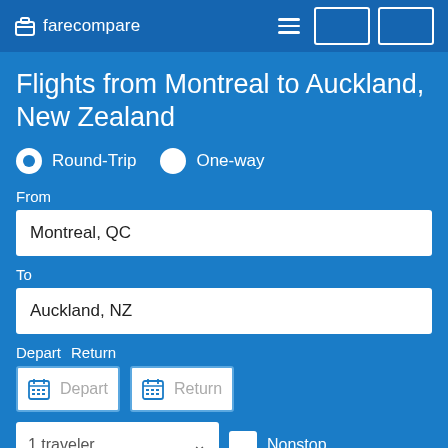farecompare
Flights from Montreal to Auckland, New Zealand
Round-Trip  One-way
From
Montreal, QC
To
Auckland, NZ
Depart
Return
Depart
Return
1 traveler
Nonstop